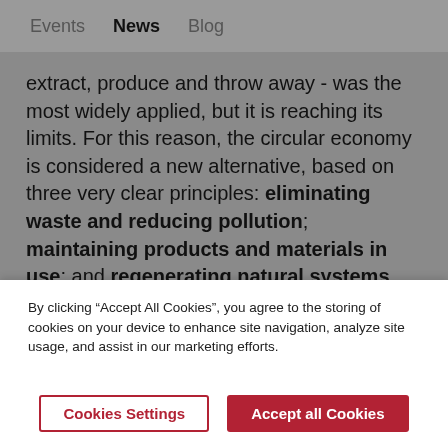Events  News  Blog
extract, produce and throw away - was the most widely applied, but it is reaching its limits. For this reason, the circular economy is considered a new alternative, based on three very clear principles: eliminating waste and reducing pollution; maintaining products and materials in use; and regenerating natural systems. These are the principles conveyed by the Ellen MacArthur Foundation, known for its commitment to the circular economy and sustainability
By clicking “Accept All Cookies”, you agree to the storing of cookies on your device to enhance site navigation, analyze site usage, and assist in our marketing efforts.
Cookies Settings  Accept all Cookies